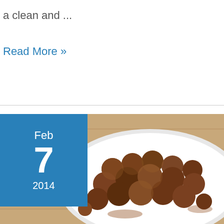a clean and ...
Read More »
[Figure (photo): A white plate piled with cocoa-dusted chocolate truffles on a wooden surface, with a blue date badge overlay showing Feb 7, 2014]